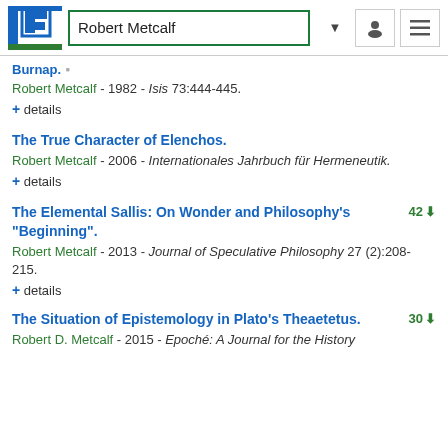Robert Metcalf
Burnap. - [partial]
Robert Metcalf - 1982 - Isis 73:444-445.
+ details
The True Character of Elenchos.
Robert Metcalf - 2006 - Internationales Jahrbuch für Hermeneutik.
+ details
The Elemental Sallis: On Wonder and Philosophy's "Beginning".
42
Robert Metcalf - 2013 - Journal of Speculative Philosophy 27 (2):208-215.
+ details
The Situation of Epistemology in Plato's Theaetetus.
30
Robert D. Metcalf - 2015 - Epoché: A Journal for the History [partial]